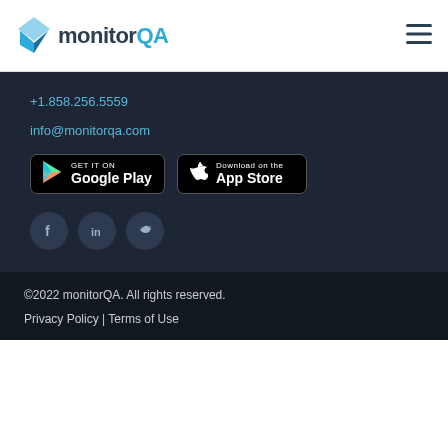monitorQA
+1.858.256.5559
info@monitorqa.com
[Figure (other): Google Play and Apple App Store download buttons]
[Figure (other): Social media icons: Facebook, LinkedIn, Twitter]
©2022 monitorQA. All rights reserved.
Privacy Policy | Terms of Use